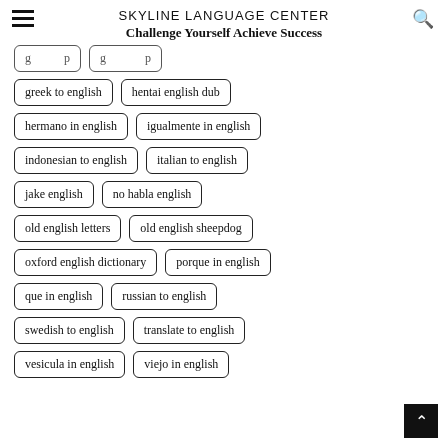SKYLINE LANGUAGE CENTER
Challenge Yourself Achieve Success
greek to english
hentai english dub
hermano in english
igualmente in english
indonesian to english
italian to english
jake english
no habla english
old english letters
old english sheepdog
oxford english dictionary
porque in english
que in english
russian to english
swedish to english
translate to english
vesicula in english
viejo in english